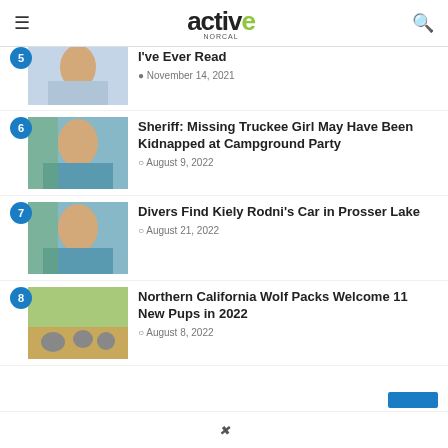active NORCAL
I've Ever Read
November 14, 2021
6 Sheriff: Missing Truckee Girl May Have Been Kidnapped at Campground Party
August 9, 2022
7 Divers Find Kiely Rodni's Car in Prosser Lake
August 21, 2022
8 Northern California Wolf Packs Welcome 11 New Pups in 2022
August 8, 2022